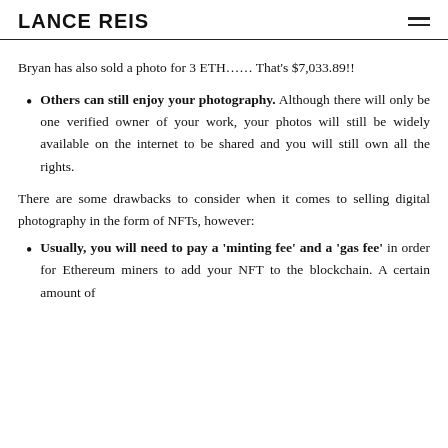LANCE REIS
Bryan has also sold a photo for 3 ETH…… That's $7,033.89!!
Others can still enjoy your photography. Although there will only be one verified owner of your work, your photos will still be widely available on the internet to be shared and you will still own all the rights.
There are some drawbacks to consider when it comes to selling digital photography in the form of NFTs, however:
Usually, you will need to pay a 'minting fee' and a 'gas fee' in order for Ethereum miners to add your NFT to the blockchain. A certain amount of